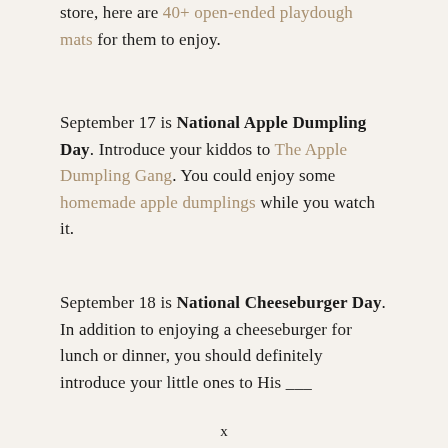store, here are 40+ open-ended playdough mats for them to enjoy.
September 17 is National Apple Dumpling Day. Introduce your kiddos to The Apple Dumpling Gang. You could enjoy some homemade apple dumplings while you watch it.
September 18 is National Cheeseburger Day. In addition to enjoying a cheeseburger for lunch or dinner, you should definitely introduce your little ones to His ...
x